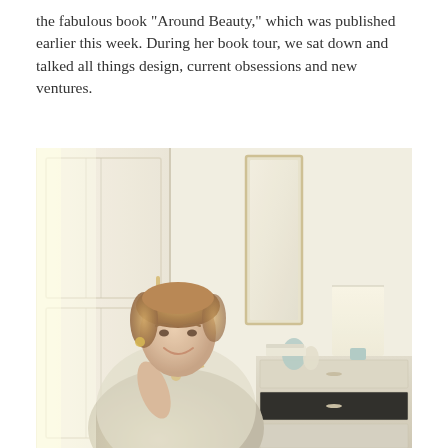the fabulous book "Around Beauty," which was published earlier this week. During her book tour, we sat down and talked all things design, current obsessions and new ventures.
[Figure (photo): A smiling woman with short reddish-blonde hair, wearing a light beige cardigan and layered necklaces, posing in a bright, elegantly decorated room with white paneled doors, a tall narrow mirror, a table lamp with a white shade on a dresser with decorative objects.]